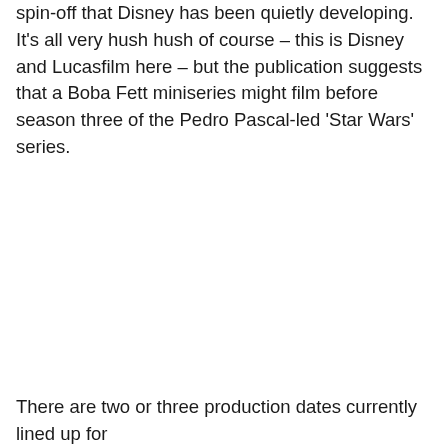spin-off that Disney has been quietly developing. It's all very hush hush of course – this is Disney and Lucasfilm here – but the publication suggests that a Boba Fett miniseries might film before season three of the Pedro Pascal-led 'Star Wars' series.
There are two or three production dates currently lined up for